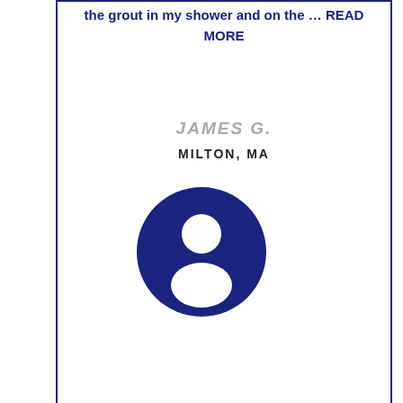the grout in my shower and on the … READ MORE
JAMES G.
MILTON, MA
[Figure (illustration): Blue circle with white person/user silhouette icon]
Quick Inquiry
Affordable Solutions is very attentive to job details and responds to extra requests. The company is thorough and expert in the work. I had a tough apartment clean out … READ MORE